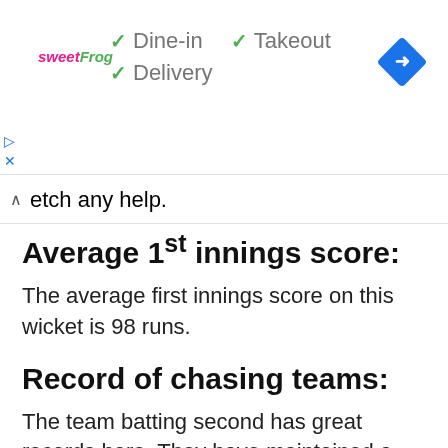[Figure (other): sweetFrog advertisement banner with checkmarks for Dine-in, Takeout, Delivery options and a blue navigation arrow icon]
etch any help.
Average 1st innings score:
The average first innings score on this wicket is 98 runs.
Record of chasing teams:
The team batting second has great records here. They have maintained a winning percentage of 80 on this ground.
MSK VS CAG European Cricket